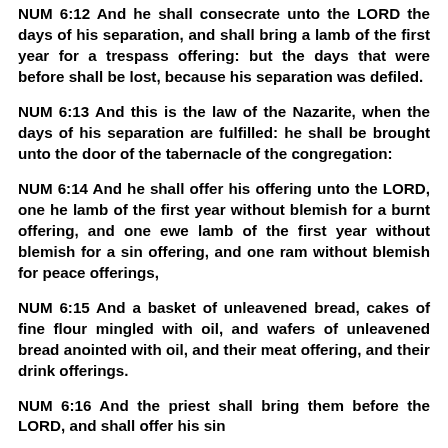NUM 6:12 And he shall consecrate unto the LORD the days of his separation, and shall bring a lamb of the first year for a trespass offering: but the days that were before shall be lost, because his separation was defiled.
NUM 6:13 And this is the law of the Nazarite, when the days of his separation are fulfilled: he shall be brought unto the door of the tabernacle of the congregation:
NUM 6:14 And he shall offer his offering unto the LORD, one he lamb of the first year without blemish for a burnt offering, and one ewe lamb of the first year without blemish for a sin offering, and one ram without blemish for peace offerings,
NUM 6:15 And a basket of unleavened bread, cakes of fine flour mingled with oil, and wafers of unleavened bread anointed with oil, and their meat offering, and their drink offerings.
NUM 6:16 And the priest shall bring them before the LORD, and shall offer his sin